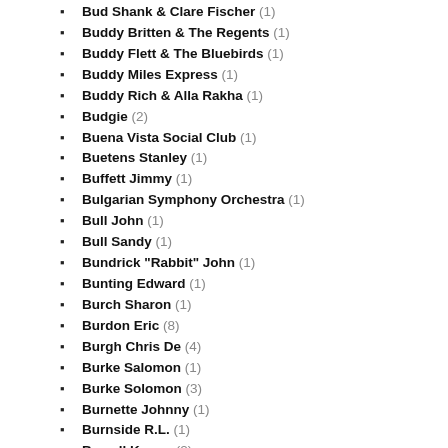Bud Shank & Clare Fischer (1)
Buddy Britten & The Regents (1)
Buddy Flett & The Bluebirds (1)
Buddy Miles Express (1)
Buddy Rich & Alla Rakha (1)
Budgie (2)
Buena Vista Social Club (1)
Buetens Stanley (1)
Buffett Jimmy (1)
Bulgarian Symphony Orchestra (1)
Bull John (1)
Bull Sandy (1)
Bundrick "Rabbit" John (1)
Bunting Edward (1)
Burch Sharon (1)
Burdon Eric (8)
Burgh Chris De (4)
Burke Salomon (1)
Burke Solomon (3)
Burnette Johnny (1)
Burnside R.L. (1)
Burroll Konny (2)